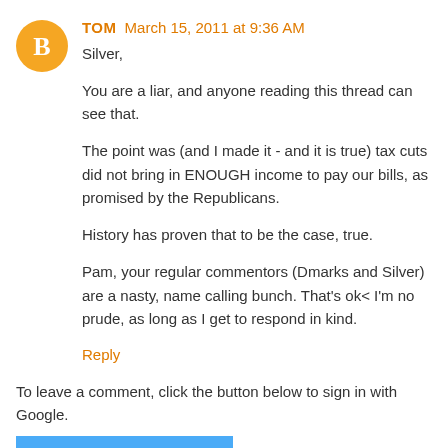TOM March 15, 2011 at 9:36 AM
Silver,
You are a liar, and anyone reading this thread can see that.
The point was (and I made it - and it is true) tax cuts did not bring in ENOUGH income to pay our bills, as promised by the Republicans.
History has proven that to be the case, true.
Pam, your regular commentors (Dmarks and Silver) are a nasty, name calling bunch. That's ok< I'm no prude, as long as I get to respond in kind.
Reply
To leave a comment, click the button below to sign in with Google.
SIGN IN WITH GOOGLE